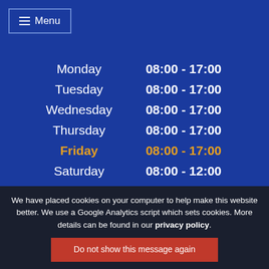≡ Menu
| Day | Hours |
| --- | --- |
| Monday | 08:00 - 17:00 |
| Tuesday | 08:00 - 17:00 |
| Wednesday | 08:00 - 17:00 |
| Thursday | 08:00 - 17:00 |
| Friday | 08:00 - 17:00 |
| Saturday | 08:00 - 12:00 |
| Sunday | Closed |
Bryn Motor Company
Landgate Industrial Estate
Bryn
Wigan
Lancashire
WN4 0BW
📞 01942 711 112
We have placed cookies on your computer to help make this website better. We use a Google Analytics script which sets cookies. More details can be found in our privacy policy.
Do not show this message again
Social